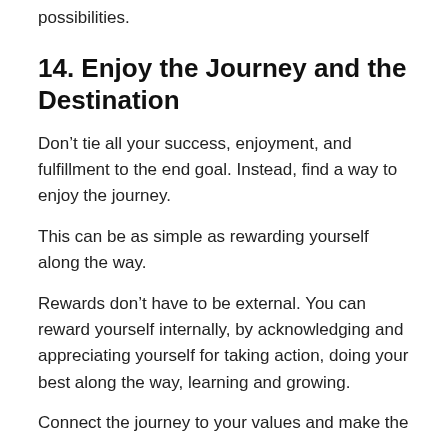possibilities.
14. Enjoy the Journey and the Destination
Don't tie all your success, enjoyment, and fulfillment to the end goal. Instead, find a way to enjoy the journey.
This can be as simple as rewarding yourself along the way.
Rewards don't have to be external. You can reward yourself internally, by acknowledging and appreciating yourself for taking action, doing your best along the way, learning and growing.
Connect the journey to your values and make the